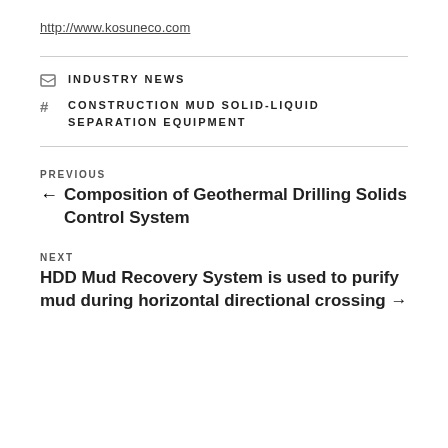http://www.kosuneco.com
INDUSTRY NEWS
CONSTRUCTION MUD SOLID-LIQUID SEPARATION EQUIPMENT
PREVIOUS
← Composition of Geothermal Drilling Solids Control System
NEXT
HDD Mud Recovery System is used to purify mud during horizontal directional crossing →